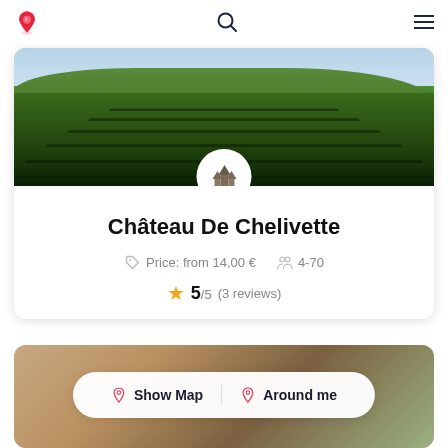Navigation bar with logo, search, and menu
[Figure (photo): Vineyard landscape photo for Château De Chelivette with château logo overlay circle]
Château De Chelivette
Price: from 14,00 €   4-70
5/5 (3 reviews)
[Figure (photo): Partial photo of second listing card]
Show Map   Around me